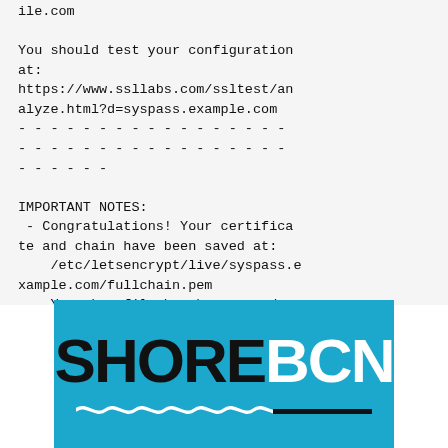ile.com

You should test your configuration at:
https://www.ssllabs.com/ssltest/analyze.html?d=syspass.example.com
- - - - - - - - - - - - - - - - -
- - - - - - - - - - - - - - - - -
- - - - - -

IMPORTANT NOTES:
 - Congratulations! Your certificate and chain have been saved at:
    /etc/letsencrypt/live/syspass.example.com/fullchain.pem
    Your key file has been saved at:
    /etc/letsencrypt/live/syspass.example.com/privkey.pem
[Figure (logo): SHOREBCN logo on a teal/cyan background with wave underline decoration]